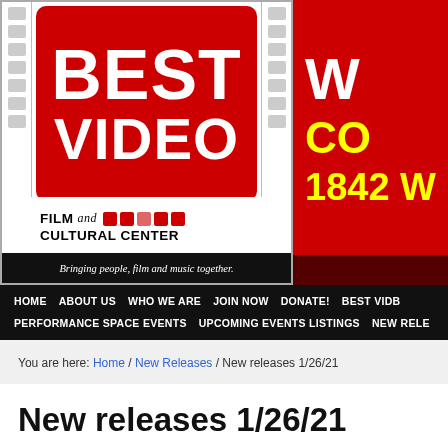[Figure (logo): Best Video Film and Cultural Center logo with film strip design, red background, white text reading BEST VIDEO, with FILM and CULTURAL CENTER below. Tagline: Bringing people, film and music together.]
[Figure (other): Right portion of header banner, red background with partial white text W, yellow text CO, and yellow text 1842 W (address partially visible)]
HOME  ABOUT US  WHO WE ARE  JOIN NOW  DONATE!  BEST VIDE  PERFORMANCE SPACE EVENTS  UPCOMING EVENTS LISTINGS  NEW RE
You are here: Home / New Releases / New releases 1/26/21
New releases 1/26/21
Top Hits